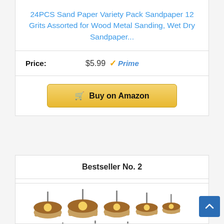24PCS Sand Paper Variety Pack Sandpaper 12 Grits Assorted for Wood Metal Sanding, Wet Dry Sandpaper...
Price: $5.99 Prime
Buy on Amazon
Bestseller No. 2
[Figure (photo): Collection of abrasive flap wheel grinding tools of various sizes arranged in rows, with metal shafts pointing upward]